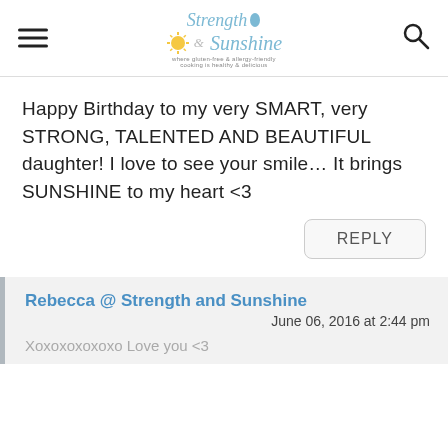Strength & Sunshine
Happy Birthday to my very SMART, very STRONG, TALENTED AND BEAUTIFUL daughter! I love to see your smile… It brings SUNSHINE to my heart <3
REPLY
Rebecca @ Strength and Sunshine
June 06, 2016 at 2:44 pm
Xoxoxoxoxoxo Love you <3